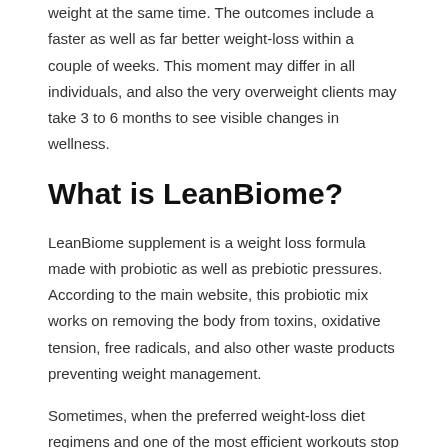weight at the same time. The outcomes include a faster as well as far better weight-loss within a couple of weeks. This moment may differ in all individuals, and also the very overweight clients may take 3 to 6 months to see visible changes in wellness.
What is LeanBiome?
LeanBiome supplement is a weight loss formula made with probiotic as well as prebiotic pressures. According to the main website, this probiotic mix works on removing the body from toxins, oxidative tension, free radicals, and also other waste products preventing weight management.
Sometimes, when the preferred weight-loss diet regimens and one of the most efficient workouts stop working to function, the body requires a metabolic transformation. Taking a probiotic supplement each day controls food cravings, reduces mood swings, as well as boosts food digestion as well as anxiety while changing the fat storage space ability of the body.